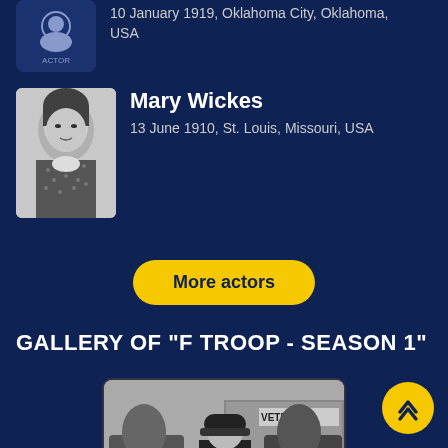10 January 1919, Oklahoma City, Oklahoma, USA
Mary Wickes
13 June 1910, St. Louis, Missouri, USA
More actors
GALLERY OF "F TROOP - SEASON 1"
[Figure (photo): Black and white scene from F Troop Season 1 showing a person in uniform standing between two horses near a stable with a VETERINARY sign]
[Figure (photo): Black and white scene from F Troop Season 1, partially visible at bottom]